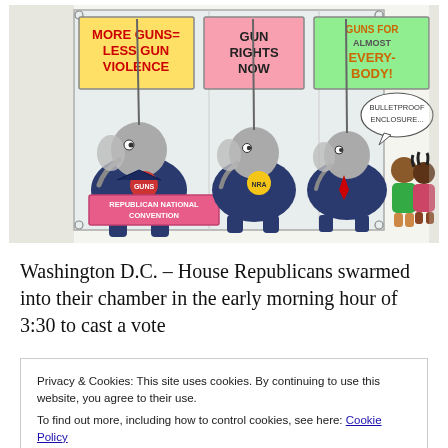[Figure (illustration): Political cartoon showing elephant characters (representing Republicans) at the Republican National Convention holding signs reading 'MORE GUNS LESS GUN VIOLENCE', 'GUN RIGHTS NOW', and 'GUNS FOR ALMOST EVERYBODY!' with a speech bubble saying 'BULLETPROOF ENCLOSURE...' and two children standing to the right looking on.]
Washington D.C. – House Republicans swarmed into their chamber in the early morning hour of 3:30 to cast a vote
Privacy & Cookies: This site uses cookies. By continuing to use this website, you agree to their use.
To find out more, including how to control cookies, see here: Cookie Policy
Close and accept